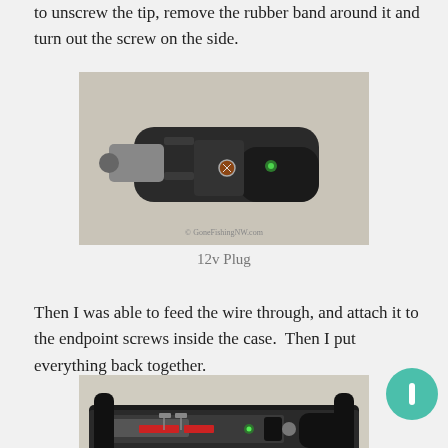to unscrew the tip, remove the rubber band around it and turn out the screw on the side.
[Figure (photo): Photo of a black 12v car cigarette lighter plug adapter, shown assembled with a side screw visible and a green LED indicator. Watermark reads GoFishingNW.com]
12v Plug
Then I was able to feed the wire through, and attach it to the endpoint screws inside the case.  Then I put everything back together.
[Figure (photo): Photo of the 12v plug disassembled/opened showing internal components including red wires, metal contacts, a green LED, and circuit board components visible inside the black casing.]